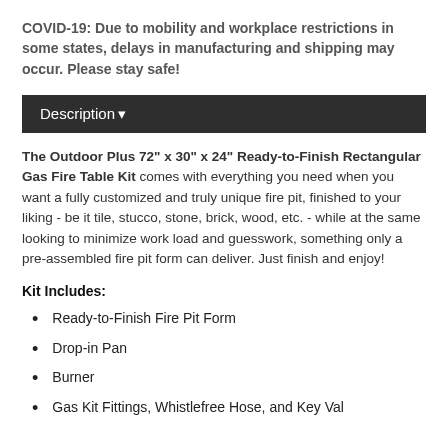COVID-19: Due to mobility and workplace restrictions in some states, delays in manufacturing and shipping may occur. Please stay safe!
Description ▾
The Outdoor Plus 72" x 30" x 24" Ready-to-Finish Rectangular Gas Fire Table Kit comes with everything you need when you want a fully customized and truly unique fire pit, finished to your liking - be it tile, stucco, stone, brick, wood, etc. - while at the same looking to minimize work load and guesswork, something only a pre-assembled fire pit form can deliver. Just finish and enjoy!
Kit Includes:
Ready-to-Finish Fire Pit Form
Drop-in Pan
Burner
Gas Kit Fittings, Whistlefree Hose, and Key Valve